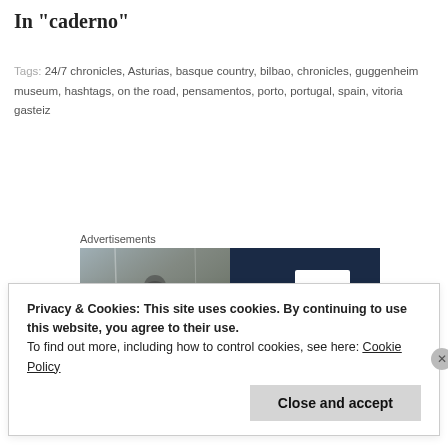In "caderno"
Tags: 24/7 chronicles, Asturias, basque country, bilbao, chronicles, guggenheim museum, hashtags, on the road, pensamentos, porto, portugal, spain, vitoria gasteiz
Advertisements
[Figure (photo): Advertisement image split into two halves: left side shows a blurry outdoor scene with a person, right side shows a dark navy background with a white letter P in a speech bubble/parking sign style icon]
Privacy & Cookies: This site uses cookies. By continuing to use this website, you agree to their use.
To find out more, including how to control cookies, see here: Cookie Policy
Close and accept